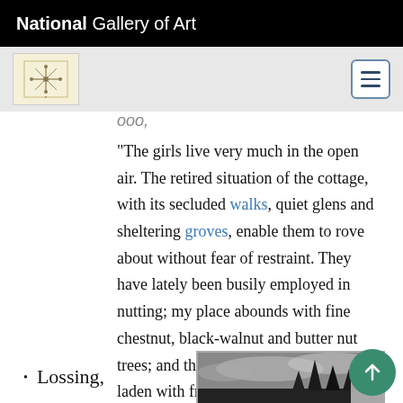National Gallery of Art
ooo,
"The girls live very much in the open air. The retired situation of the cottage, with its secluded walks, quiet glens and sheltering groves, enable them to rove about without fear of restraint. They have lately been busily employed in nutting; my place abounds with fine chestnut, black-walnut and butter nut trees; and this year they are completely laden with fruit."
[Figure (photo): Black and white landscape image showing trees silhouetted against a cloudy sky, partially visible at bottom right of page.]
Lossing,